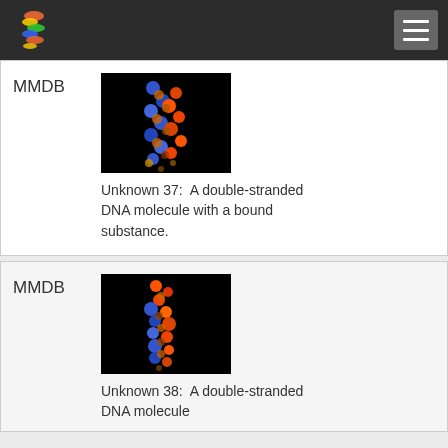MMDB database page header with logo and menu
MMDB
[Figure (illustration): 3D molecular structure of a double-stranded DNA molecule with a bound substance, rendered in blue, orange, and red spheres on black background]
Unknown 37:  A double-stranded DNA molecule with a bound substance.
MMDB
[Figure (illustration): 3D molecular structure of a double-stranded DNA molecule, rendered in blue, orange, and red spheres on black background]
Unknown 38:  A double-stranded DNA molecule